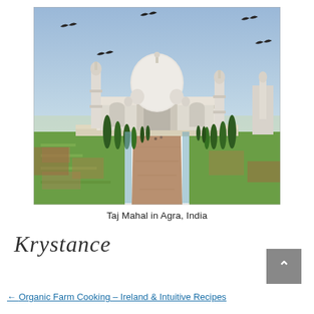[Figure (photo): Photograph of the Taj Mahal in Agra, India. View from the main garden pathway with cypress trees on either side leading to the white marble mausoleum with its large central dome and minarets. Several birds (pigeons) are flying in the blue sky above. Green formal gardens are visible on either side of the central brick pathway.]
Taj Mahal in Agra, India
Krystance
← Organic Farm Cooking – Ireland & Intuitive Recipes